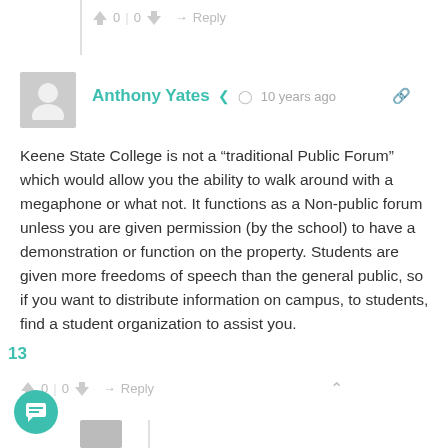👍 0 | 0 👎 → Reply
Anthony Yates  🔗  🕐 10 years ago  🔗
Keene State College is not a “traditional Public Forum” which would allow you the ability to walk around with a megaphone or what not. It functions as a Non-public forum unless you are given permission (by the school) to have a demonstration or function on the property. Students are given more freedoms of speech than the general public, so if you want to distribute information on campus, to students, find a student organization to assist you.
👍 0 | 0 👎 → Reply